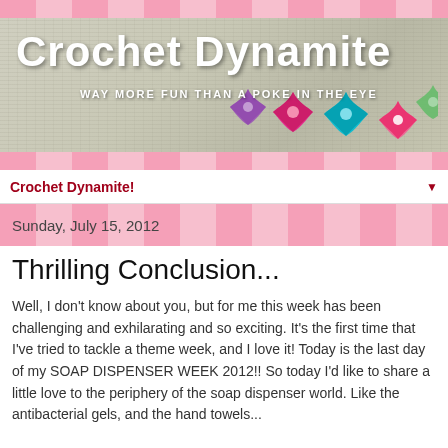[Figure (photo): Blog header banner for 'Crochet Dynamite' with pink gingham borders, crochet texture background, colorful star-shaped crochet flowers, blog title and subtitle text.]
Crochet Dynamite!
Sunday, July 15, 2012
Thrilling Conclusion...
Well, I don't know about you, but for me this week has been challenging and exhilarating and so exciting.  It's the first time that I've tried to tackle a theme week, and I love it!  Today is the last day of my SOAP DISPENSER WEEK 2012!!  So today I'd like to share a little love to the periphery of the soap dispenser world.  Like the antibacterial gels, and the hand towels...